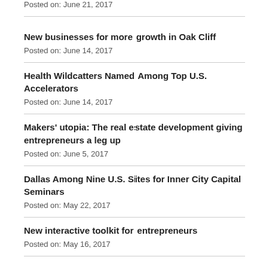Posted on: June 21, 2017
New businesses for more growth in Oak Cliff
Posted on: June 14, 2017
Health Wildcatters Named Among Top U.S. Accelerators
Posted on: June 14, 2017
Makers' utopia: The real estate development giving entrepreneurs a leg up
Posted on: June 5, 2017
Dallas Among Nine U.S. Sites for Inner City Capital Seminars
Posted on: May 22, 2017
New interactive toolkit for entrepreneurs
Posted on: May 16, 2017